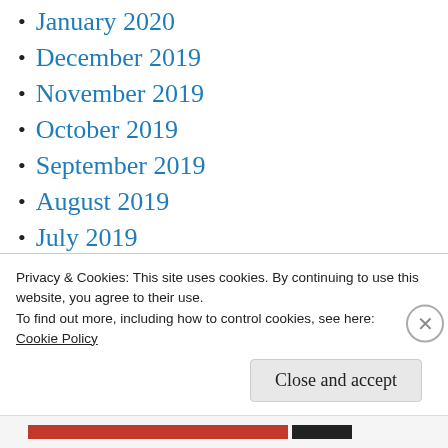January 2020
December 2019
November 2019
October 2019
September 2019
August 2019
July 2019
June 2019
May 2019
April 2019
March 2019
Privacy & Cookies: This site uses cookies. By continuing to use this website, you agree to their use.
To find out more, including how to control cookies, see here:
Cookie Policy
Close and accept